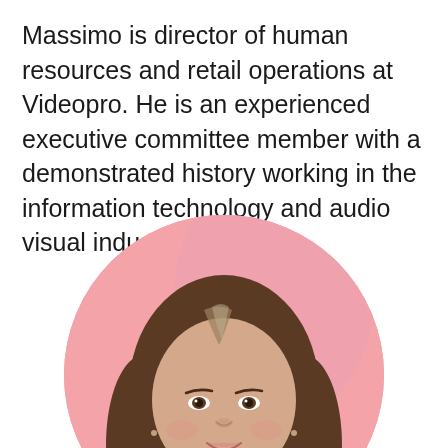Massimo is director of human resources and retail operations at Videopro. He is an experienced executive committee member with a demonstrated history working in the information technology and audio visual industry.
[Figure (photo): Circular portrait photo of a woman with long brown hair, smiling, against a pink background.]